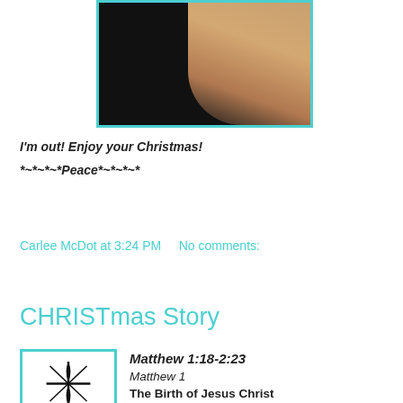[Figure (photo): Photo of hands against a black background, cropped at top, framed with teal/cyan border]
I'm out! Enjoy your Christmas!
*~*~*~*Peace*~*~*~*
Carlee McDot at 3:24 PM    No comments:
Share
CHRISTmas Story
[Figure (illustration): Black and white illustration of nativity star and Mary holding baby Jesus, framed with teal border]
Matthew 1:18-2:23
Matthew 1
The Birth of Jesus Christ
18 This is how the birth of Jesus Christ came about: His mother Mary was